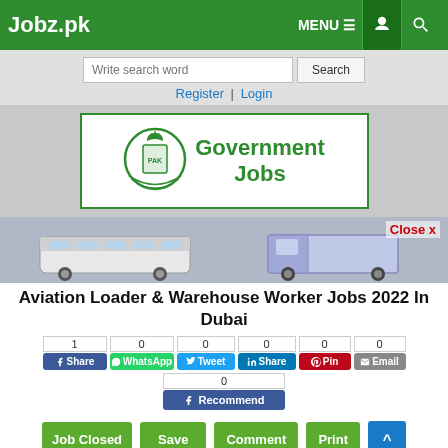Jobz.pk — MENU
Write search word | Search | Register | Login
[Figure (illustration): Government Jobs banner with Pakistan emblem on the left and bold green text 'Government Jobs' on the right]
[Figure (photo): Trucks and buses image banner with 'Close x' button]
Aviation Loader & Warehouse Worker Jobs 2022 In Dubai
Share buttons: Facebook (1), WhatsApp (0), Tweet (0), LinkedIn Share (0), Pinterest Pin (0), Email (0), Facebook Recommend (0)
Action buttons: Job Closed | Save | Comment | Print | Scroll Up (^)